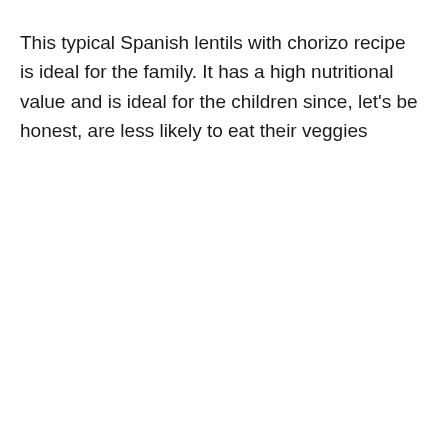This typical Spanish lentils with chorizo recipe is ideal for the family. It has a high nutritional value and is ideal for the children since, let's be honest, are less likely to eat their veggies